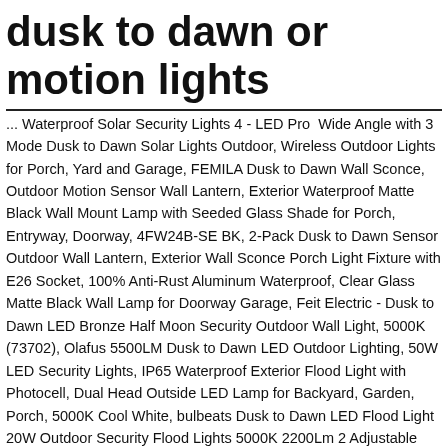dusk to dawn or motion lights
... Waterproof Solar Security Lights 4 - LED Pro Wide Angle with 3 Mode Dusk to Dawn Solar Lights Outdoor, Wireless Outdoor Lights for Porch, Yard and Garage, FEMILA Dusk to Dawn Wall Sconce, Outdoor Motion Sensor Wall Lantern, Exterior Waterproof Matte Black Wall Mount Lamp with Seeded Glass Shade for Porch, Entryway, Doorway, 4FW24B-SE BK, 2-Pack Dusk to Dawn Sensor Outdoor Wall Lantern, Exterior Wall Sconce Porch Light Fixture with E26 Socket, 100% Anti-Rust Aluminum Waterproof, Clear Glass Matte Black Wall Lamp for Doorway Garage, Feit Electric - Dusk to Dawn LED Bronze Half Moon Security Outdoor Wall Light, 5000K (73702), Olafus 5500LM Dusk to Dawn LED Outdoor Lighting, 50W LED Security Lights, IP65 Waterproof Exterior Flood Light with Photocell, Dual Head Outside LED Lamp for Backyard, Garden, Porch, 5000K Cool White, bulbeats Dusk to Dawn LED Flood Light 20W Outdoor Security Flood Lights 5000K 2200Lm 2 Adjustable LED Heads IP65 Waterproof LED Security Light for Commercial & Household/ Entryways /Garage, Outdoor Light Fixtures Wall Mount with Dusk to Dawn Photocell,Black Led Exterior Front Door Porch Light Scone with Seeded Glass, Modern Garage, Light for Entry